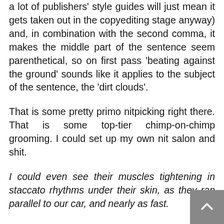a lot of publishers' style guides will just mean it gets taken out in the copyediting stage anyway) and, in combination with the second comma, it makes the middle part of the sentence seem parenthetical, so on first pass 'beating against the ground' sounds like it applies to the subject of the sentence, the 'dirt clouds'.
That is some pretty primo nitpicking right there. That is some top-tier chimp-on-chimp grooming. I could set up my own nit salon and shit.
I could even see their muscles tightening in staccato rhythms under their skin, as they ran parallel to our car, and nearly as fast.